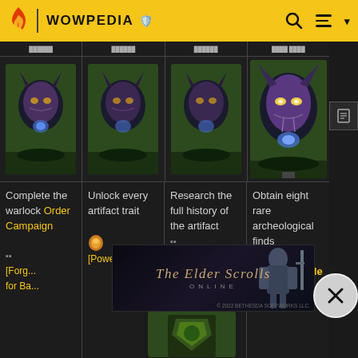WOWPEDIA
[Figure (screenshot): Wowpedia wiki page showing a table of World of Warcraft achievements with in-game screenshots of a demon/warlock NPC head above grass and rocks]
Complete the warlock Order Campaign [Forge for Ba...]
Unlock every artifact trait [Power...]
Research the full history of the artifact [Part...]
Obtain eight rare archeological finds [This Side Up]
[Figure (screenshot): The Elder Scrolls Online advertisement banner - © 2022 Bethesda Softworks LLC.]
© 2022 BETHESDA SOFTWORKS LLC.